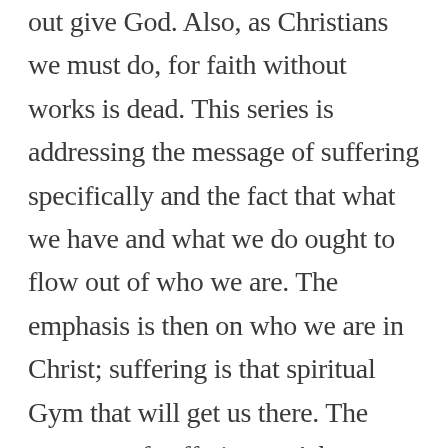out give God. Also, as Christians we must do, for faith without works is dead. This series is addressing the message of suffering specifically and the fact that what we have and what we do ought to flow out of who we are. The emphasis is then on who we are in Christ; suffering is that spiritual Gym that will get us there. The message of suffering can't be ignored and must be Biblically explained. I already ended the series, so hopefully we will get a better understanding of what the main point is. God bless you Dennis!